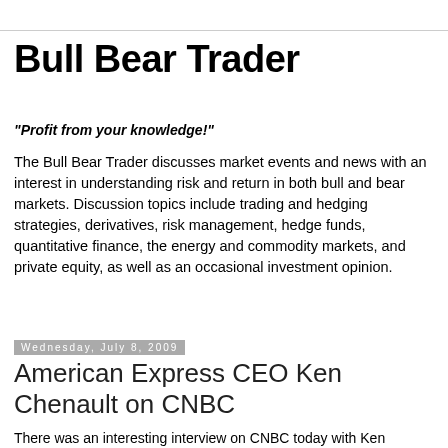Bull Bear Trader
"Profit from your knowledge!"
The Bull Bear Trader discusses market events and news with an interest in understanding risk and return in both bull and bear markets. Discussion topics include trading and hedging strategies, derivatives, risk management, hedge funds, quantitative finance, the energy and commodity markets, and private equity, as well as an occasional investment opinion.
Wednesday, July 8, 2009
American Express CEO Ken Chenault on CNBC
There was an interesting interview on CNBC today with Ken